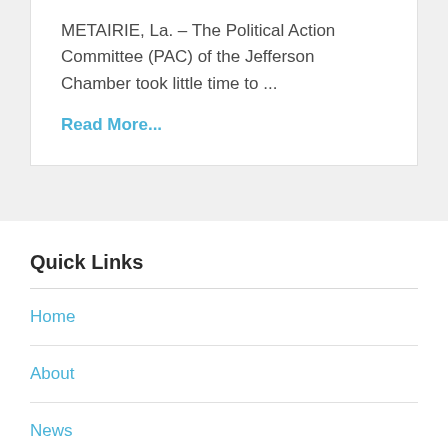METAIRIE, La. – The Political Action Committee (PAC) of the Jefferson Chamber took little time to ...
Read More...
Quick Links
Home
About
News